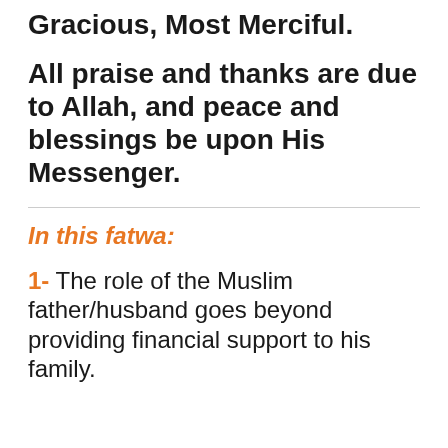Gracious, Most Merciful.
All praise and thanks are due to Allah, and peace and blessings be upon His Messenger.
In this fatwa:
1- The role of the Muslim father/husband goes beyond providing financial support to his family.